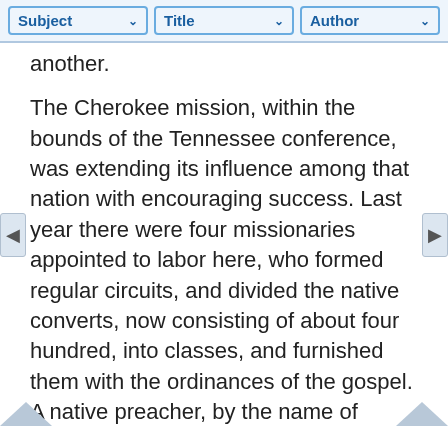Subject  Title  Author
another.
The Cherokee mission, within the bounds of the Tennessee conference, was extending its influence among that nation with encouraging success. Last year there were four missionaries appointed to labor here, who formed regular circuits, and divided the native converts, now consisting of about four hundred, into classes, and furnished them with the ordinances of the gospel. A native preacher, by the name of Turtle Fields, had been raised up, who became eminently useful to his brethren, as he could speak to them in their own language of the "wonderful works of God."
Though it was the practice of all our missionaries who were sent among the aboriginal tribes, first of all to preach to them the gospel of Christ, yet when